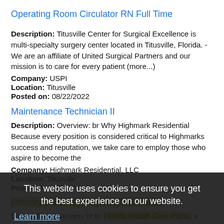Operating Room Circulator RN Full Time
Description: Titusville Center for Surgical Excellence is multi-specialty surgery center located in Titusville, Florida. - We are an affiliate of United Surgical Partners and our mission is to care for every patient (more...)
Company: USPI
Location: Titusville
Posted on: 08/22/2022
Maintenance Technician II
Description: Overview: br Why Highmark Residential Because every position is considered critical to Highmarks success and reputation, we take care to employ those who aspire to become the
Company: Highmark Residential, LLC
Location: Titusville
Posted on: 08/22/20...
Primary Care Physician IM/FM, BC/BE
Description: Overview br br Florida Health Care Plans, a large multi-specialty staff model HMO is seeking a BC/BE, Internal Medicine / Family
Company: Florida Health Care Plans, Inc.
This website uses cookies to ensure you get the best experience on our website.
Learn more
Got it!